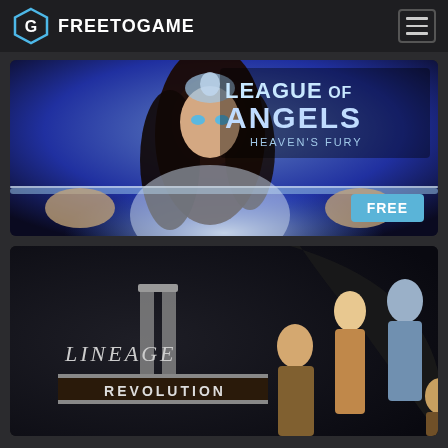FREETOGAME
[Figure (screenshot): League of Angels Heaven's Fury game banner featuring a female character in white robes holding a glowing sword, with the game logo 'LEAGUE OF ANGELS HEAVEN'S FURY' in the upper right and a 'FREE' badge in the lower right corner]
[Figure (screenshot): Lineage II Revolution game banner featuring the game logo on the left and multiple fantasy characters including warriors and an elf on the right against a dark background]